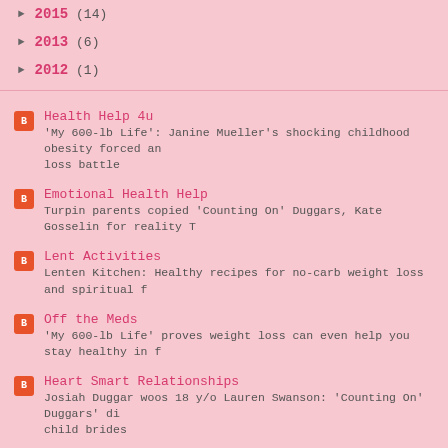► 2015 (14)
► 2013 (6)
► 2012 (1)
Health Help 4u — 'My 600-lb Life': Janine Mueller's shocking childhood obesity forced and loss battle
Emotional Health Help — Turpin parents copied 'Counting On' Duggars, Kate Gosselin for reality T
Lent Activities — Lenten Kitchen: Healthy recipes for no-carb weight loss and spiritual f
Off the Meds — 'My 600-lb Life' proves weight loss can even help you stay healthy in f
Heart Smart Relationships — Josiah Duggar woos 18 y/o Lauren Swanson: 'Counting On' Duggars' di child brides
The Special Needs Child